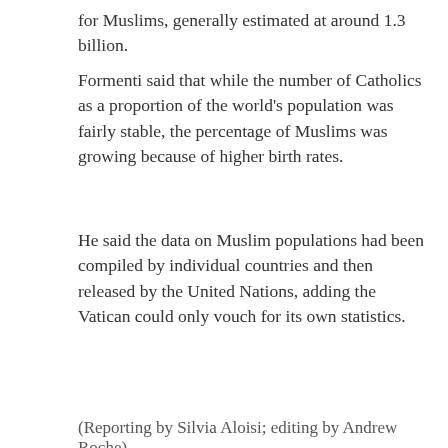for Muslims, generally estimated at around 1.3 billion.
Formenti said that while the number of Catholics as a proportion of the world's population was fairly stable, the percentage of Muslims was growing because of higher birth rates.
He said the data on Muslim populations had been compiled by individual countries and then released by the United Nations, adding the Vatican could only vouch for its own statistics.
(Reporting by Silvia Aloisi; editing by Andrew Roche)
Islamists aren't the nicest people...